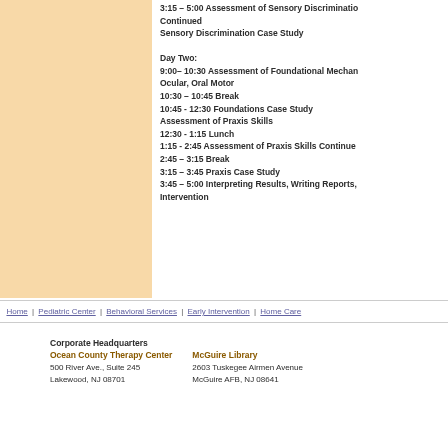3:15 – 5:00 Assessment of Sensory Discrimination Continued
Sensory Discrimination Case Study

Day Two:
9:00– 10:30 Assessment of Foundational Mechanisms: Ocular, Oral Motor
10:30 – 10:45 Break
10:45 - 12:30 Foundations Case Study
Assessment of Praxis Skills
12:30 - 1:15 Lunch
1:15 - 2:45 Assessment of Praxis Skills Continued
2:45 – 3:15 Break
3:15 – 3:45 Praxis Case Study
3:45 – 5:00 Interpreting Results, Writing Reports, Intervention
Home | Pediatric Center | Behavioral Services | Early Intervention | Home Care
Corporate Headquarters
Ocean County Therapy Center
500 River Ave., Suite 245
Lakewood, NJ 08701
McGuire Library
2603 Tuskegee Airmen Avenue
McGuire AFB, NJ 08641